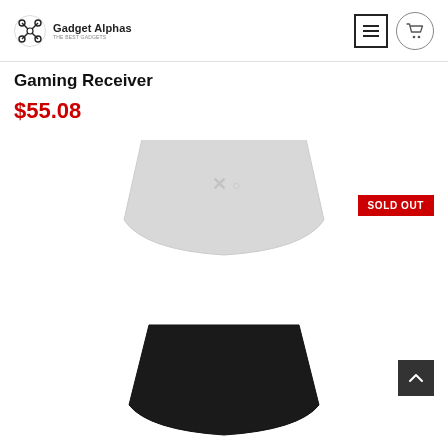Gadget Alphas – The Best Gadgets
Gaming Receiver
$55.08
[Figure (photo): Top-down view of a white gaming receiver/wireless adapter device with a silver antenna on top, shown twice (stacked vertically). A red SOLD OUT badge is visible in the upper right area of the image.]
SOLD OUT